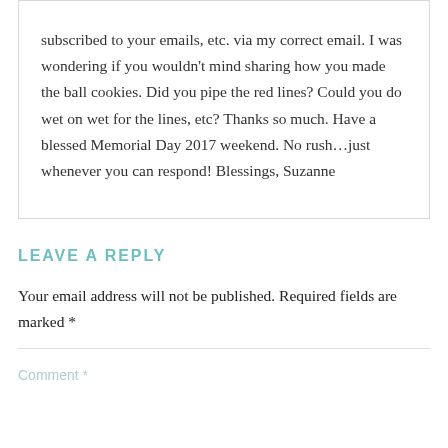subscribed to your emails, etc. via my correct email. I was wondering if you wouldn't mind sharing how you made the ball cookies. Did you pipe the red lines? Could you do wet on wet for the lines, etc? Thanks so much. Have a blessed Memorial Day 2017 weekend. No rush…just whenever you can respond! Blessings, Suzanne
LEAVE A REPLY
Your email address will not be published. Required fields are marked *
Comment *